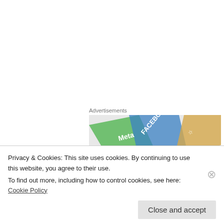Advertisements
[Figure (photo): Banner advertisement showing social media brand logos including Meta and Facebook on colorful cards]
chasetheredgrape on March 28, 2014 at 11:12 am
So pleased to hear about your job! Well done!

That's definitely something to make you smile, I
Privacy & Cookies: This site uses cookies. By continuing to use this website, you agree to their use.
To find out more, including how to control cookies, see here: Cookie Policy
Close and accept